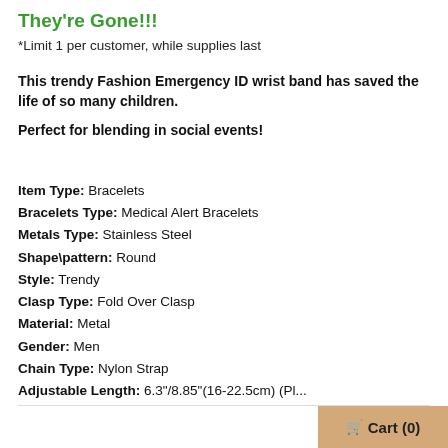They're Gone!!!
*Limit 1 per customer, while supplies last
This trendy Fashion Emergency ID wrist band has saved the life of so many children.
Perfect for blending in social events!
Item Type: Bracelets
Bracelets Type: Medical Alert Bracelets
Metals Type: Stainless Steel
Shape\pattern: Round
Style: Trendy
Clasp Type: Fold Over Clasp
Material: Metal
Gender: Men
Chain Type: Nylon Strap
Adjustable Length: 6.3"/8.85"(16-22.5cm) (Pl...